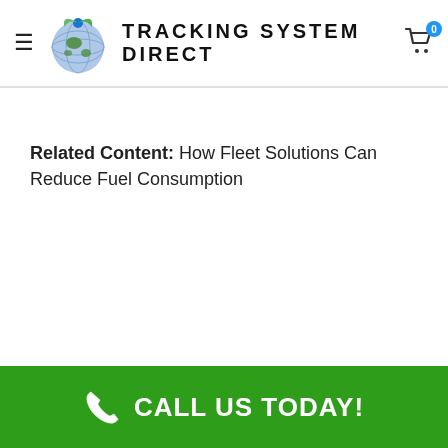Tracking System Direct
Related Content: How Fleet Solutions Can Reduce Fuel Consumption
CALL US TODAY!